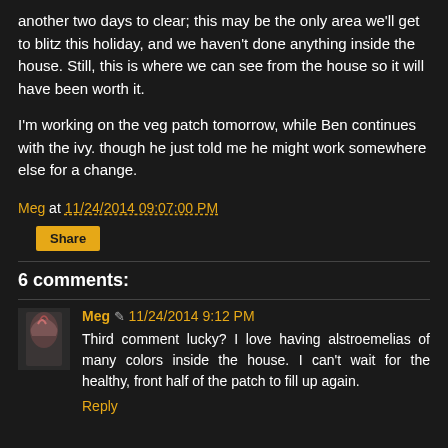another two days to clear; this may be the only area we'll get to blitz this holiday, and we haven't done anything inside the house. Still, this is where we can see from the house so it will have been worth it.
I'm working on the veg patch tomorrow, while Ben continues with the ivy. though he just told me he might work somewhere else for a change.
Meg at 11/24/2014 09:07:00 PM
Share
6 comments:
Meg / 11/24/2014 9:12 PM
Third comment lucky? I love having alstroemelias of many colors inside the house. I can't wait for the healthy, front half of the patch to fill up again.
Reply